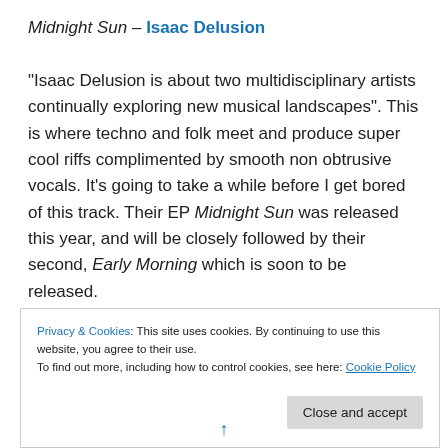Midnight Sun – Isaac Delusion
“Isaac Delusion is about two multidisciplinary artists continually exploring new musical landscapes”. This is where techno and folk meet and produce super cool riffs complimented by smooth non obtrusive vocals. It’s going to take a while before I get bored of this track. Their EP Midnight Sun was released this year, and will be closely followed by their second, Early Morning which is soon to be released.
Privacy & Cookies: This site uses cookies. By continuing to use this website, you agree to their use.
To find out more, including how to control cookies, see here: Cookie Policy
Close and accept